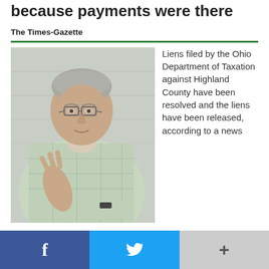because payments were there
The Times-Gazette
[Figure (photo): A man with gray hair and glasses wearing a light green/white checkered shirt, gesturing with one hand while speaking]
Liens filed by the Ohio Department of Taxation against Highland County have been resolved and the liens have been released, according to a news
f    (twitter bird)    +